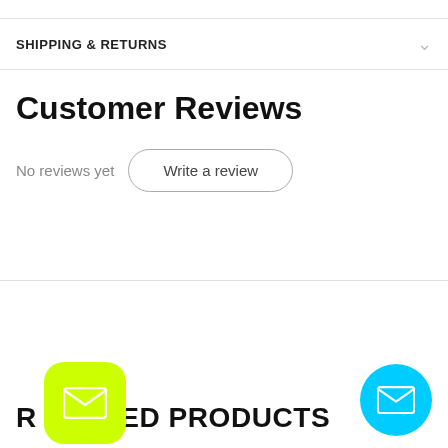SHIPPING & RETURNS
Customer Reviews
No reviews yet
Write a review
RELATED PRODUCTS
[Figure (illustration): Yellow-green rounded square badge with white envelope/mail icon]
[Figure (illustration): Cyan blue circle badge with white envelope/mail icon]